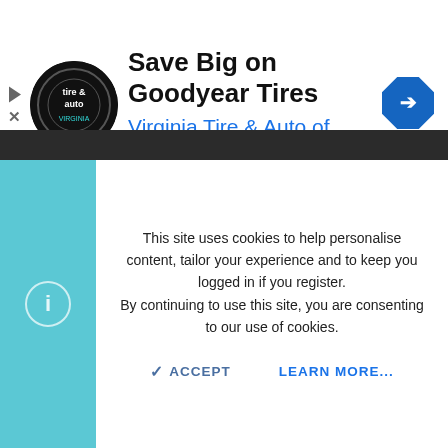[Figure (screenshot): Advertisement banner for Virginia Tire & Auto of Ashburn featuring Goodyear Tires promotion with logo, text, and navigation arrow icon]
HEARTH 2
CONTACT US   TERMS AND RULES   PRIVACY POLICY
HELP   HOME   ↑   RSS
This site uses cookies to help personalise content, tailor your experience and to keep you logged in if you register. By continuing to use this site, you are consenting to our use of cookies.
✓ ACCEPT   LEARN MORE...